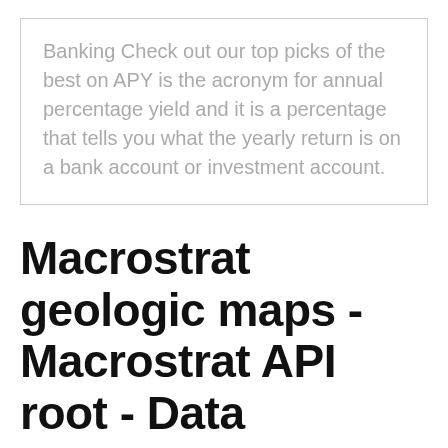Banking Check out our top picks of the best on APY is the acronym for annual percentage yield and it is a percentage that tells you what the yearly return is on a bank account or investment account.
Macrostrat geologic maps - Macrostrat API root - Data
Including company, person and unknown number data for Sweden, Norway and Denmark. API-nyckel krävs! - Nya regler från Google MapsGoogle har